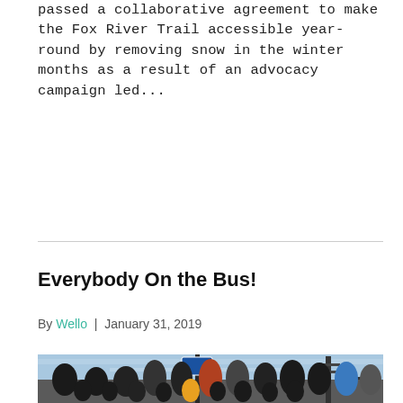passed a collaborative agreement to make the Fox River Trail accessible year-round by removing snow in the winter months as a result of an advocacy campaign led...
Read More
Everybody On the Bus!
By Wello | January 31, 2019
[Figure (photo): Group photo of adults and children standing outdoors near a bus stop sign and railroad crossing, many wearing matching black t-shirts, taken during the day with blue sky in background.]